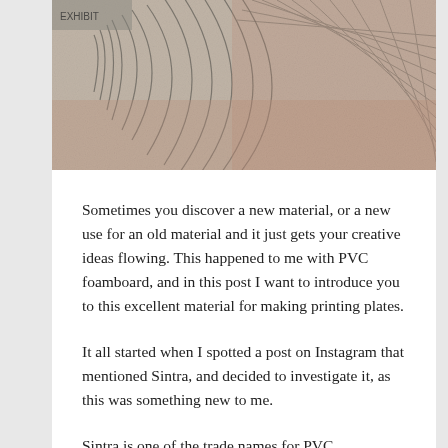[Figure (photo): Close-up photograph of a textured surface showing concentric circular ridges and linear striations, resembling a fingerprint or wood grain texture in grey and reddish-brown tones.]
Sometimes you discover a new material, or a new use for an old material and it just gets your creative ideas flowing. This happened to me with PVC foamboard, and in this post I want to introduce you to this excellent material for making printing plates.
It all started when I spotted a post on Instagram that mentioned Sintra, and decided to investigate it, as this was something new to me.
Sintra is one of the trade names for PVC foamboard, it is also known as Foamex, Forex, Foamalite or Palite, but looking for